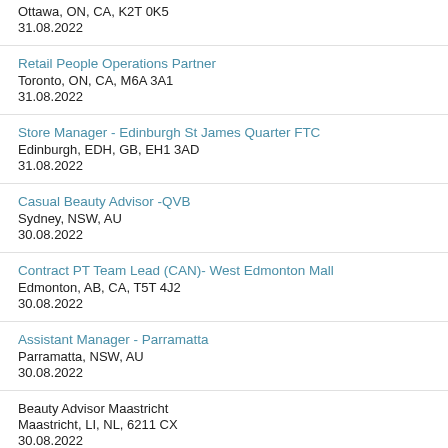Ottawa, ON, CA, K2T 0K5
31.08.2022
Retail People Operations Partner
Toronto, ON, CA, M6A 3A1
31.08.2022
Store Manager - Edinburgh St James Quarter FTC
Edinburgh, EDH, GB, EH1 3AD
31.08.2022
Casual Beauty Advisor -QVB
Sydney, NSW, AU
30.08.2022
Contract PT Team Lead (CAN)- West Edmonton Mall
Edmonton, AB, CA, T5T 4J2
30.08.2022
Assistant Manager - Parramatta
Parramatta, NSW, AU
30.08.2022
Beauty Advisor Maastricht
Maastricht, LI, NL, 6211 CX
30.08.2022
Shopmanager Regio Brabant